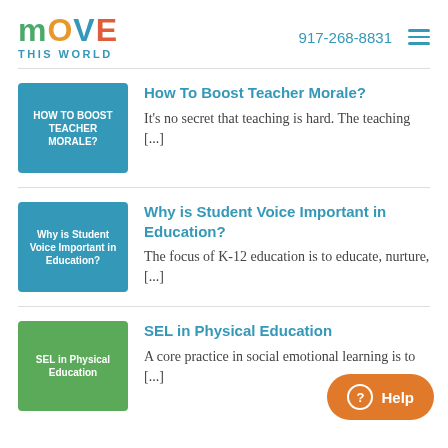MOVE THIS WORLD | 917-268-8831
[Figure (illustration): Thumbnail image for 'How To Boost Teacher Morale?' article — blue square with white text]
How To Boost Teacher Morale?
It's no secret that teaching is hard. The teaching [...]
[Figure (illustration): Thumbnail image for 'Why is Student Voice Important in Education?' article — blue square with white text]
Why is Student Voice Important in Education?
The focus of K-12 education is to educate, nurture, [...]
[Figure (illustration): Thumbnail image for 'SEL in Physical Education' article — green square with white text]
SEL in Physical Education
A core practice in social emotional learning is to [...]